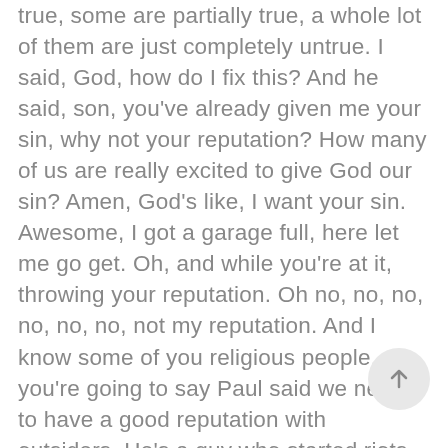true, some are partially true, a whole lot of them are just completely untrue. I said, God, how do I fix this? And he said, son, you've already given me your sin, why not your reputation? How many of us are really excited to give God our sin? Amen, God's like, I want your sin. Awesome, I got a garage full, here let me go get. Oh, and while you're at it, throwing your reputation. Oh no, no, no, no, no, no, not my reputation. And I know some of you religious people, you're going to say Paul said we need to have a good reputation with outsiders. He's a guy who started riots and wrote most of his best work from prison. So whatever good reputation is, it's big enough for that, amen? Number five, the power and joy of the spirit are often waiting